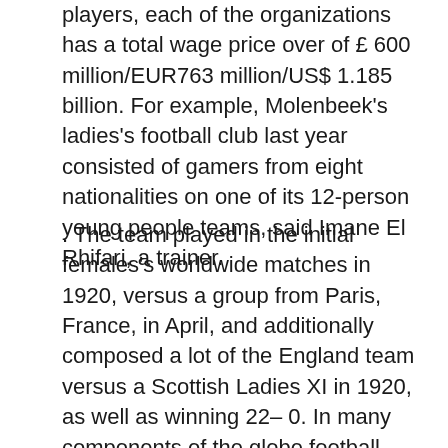players, each of the organizations has a total wage price over of £ 600 million/EUR763 million/US$ 1.185 billion. For example, Molenbeek's ladies's football club last year consisted of gamers from eight nationalities on one of its 12-person young people teams, said Imane El Rhifari, a trainer.
. The team played in the initial females's worldwide matches in 1920, versus a group from Paris, France, in April, and additionally composed a lot of the England team versus a Scottish Ladies XI in 1920, as well as winning 22– 0. In many components of the globe football stimulates fantastic enthusiasms and also plays an essential duty in the life of specific fans, regional neighborhoods, and also also countries. Kapuscinski states that Europeans who are courteous, moderate, or simple autumn